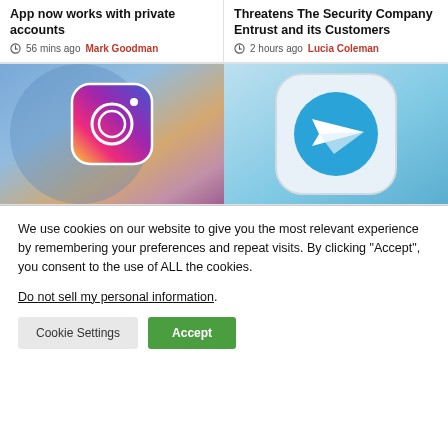App now works with private accounts
56 mins ago  Mark Goodman
Threatens The Security Company Entrust and its Customers
2 hours ago  Lucia Coleman
[Figure (photo): Instagram app icon with blurred blue background]
[Figure (photo): Telegram app icon on light blue background]
We use cookies on our website to give you the most relevant experience by remembering your preferences and repeat visits. By clicking “Accept”, you consent to the use of ALL the cookies.
Do not sell my personal information.
Cookie Settings
Accept